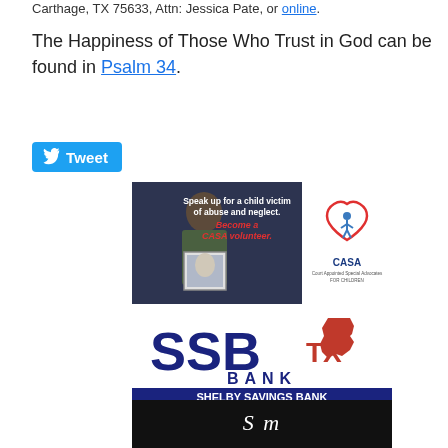Carthage, TX 75633, Attn: Jessica Pate, or online.
The Happiness of Those Who Trust in God can be found in Psalm 34.
[Figure (other): Tweet button with Twitter bird icon]
[Figure (other): CASA advertisement: Speak up for a child victim of abuse and neglect. Become a CASA volunteer. Court Appointed Special Advocates for Children logo.]
[Figure (logo): SSBTX Bank / Shelby Savings Bank advertisement. Text: SHELBY SAVINGS BANK Same bank... New Look. SSBTX is a trademark of SHELBY SAVINGS BANK, SSB. Member FDIC.]
[Figure (other): Partial image at bottom, dark background with cursive text]